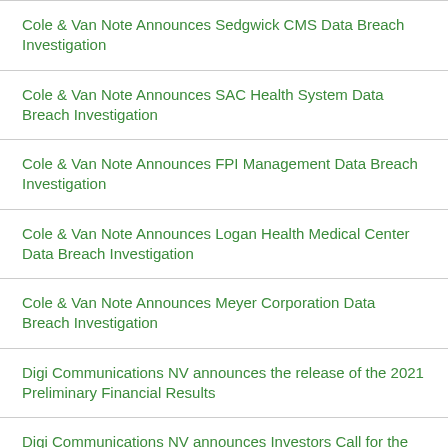Cole & Van Note Announces Sedgwick CMS Data Breach Investigation
Cole & Van Note Announces SAC Health System Data Breach Investigation
Cole & Van Note Announces FPI Management Data Breach Investigation
Cole & Van Note Announces Logan Health Medical Center Data Breach Investigation
Cole & Van Note Announces Meyer Corporation Data Breach Investigation
Digi Communications NV announces the release of the 2021 Preliminary Financial Results
Digi Communications NV announces Investors Call for the 2021